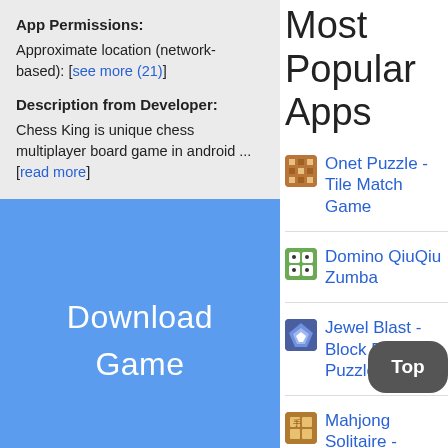App Permissions: Approximate location (network-based): [see more (21)]
Description from Developer: Chess King is unique chess multiplayer board game in android ... [read more]
[Figure (other): Blue download button with text 'Download Game']
Compatible with Windows 7/8/10 Pc & Laptop
See older versions
Most Popular Apps
Onet Puzzle - Tile Match Game
Domino QiuQiu Zumba
Jewel Blast - Block Drop Puzzle Game
Mahjong Solitaire -